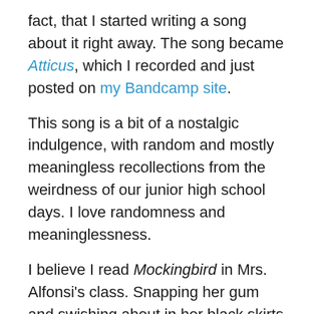fact, that I started writing a song about it right away. The song became Atticus, which I recorded and just posted on my Bandcamp site.
This song is a bit of a nostalgic indulgence, with random and mostly meaningless recollections from the weirdness of our junior high school days. I love randomness and meaninglessness.
I believe I read Mockingbird in Mrs. Alfonsi's class. Snapping her gum and swishing about in her black skirts and no-nonsense hair, Mrs. Alfonsi used Mockingbird to help us discuss issues of racism and gender stereotypes. We developed an understanding of cultural context, of the complexity of class, of justice and courage.